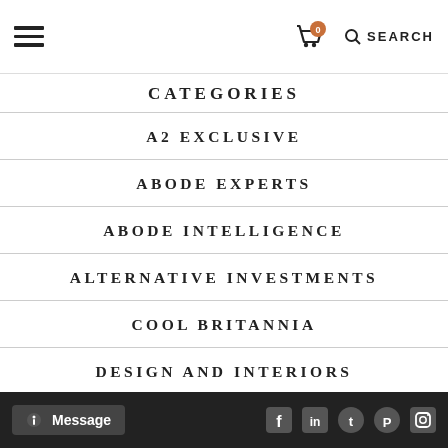CATEGORIES (navigation header with hamburger menu, cart icon with 0 badge, and SEARCH)
CATEGORIES
A2 EXCLUSIVE
ABODE EXPERTS
ABODE INTELLIGENCE
ALTERNATIVE INVESTMENTS
COOL BRITANNIA
DESIGN AND INTERIORS
DESIGN BLOG
EDUCATION
Message | social icons: Facebook, LinkedIn, Twitter, Pinterest, Instagram